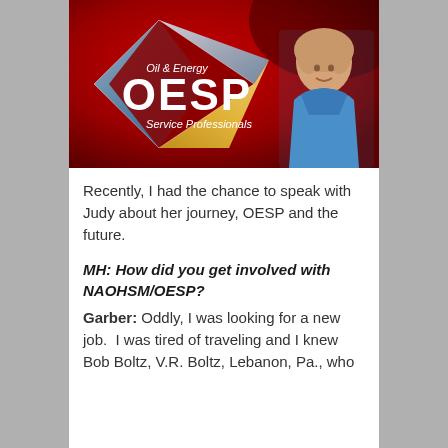[Figure (logo): OESP Oil & Energy Service Professionals banner logo with red background, diamond/gem shape graphic in blue, silver and gold, large white bold text OESP, italic text Oil & Energy above and Service Professionals below, woman in blue shirt on right side.]
Recently, I had the chance to speak with Judy about her journey, OESP and the future.
MH: How did you get involved with NAOHSM/OESP?
Garber: Oddly, I was looking for a new job.  I was tired of traveling and I knew Bob Boltz, V.R. Boltz, Lebanon, Pa., who